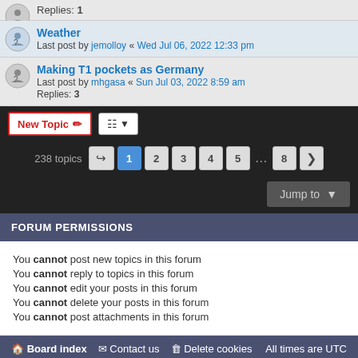Replies: 1
Weather
Last post by jemolloy « Wed Jul 06, 2022 12:33 pm
Making T1 pockets as Germany
Last post by mhgasa « Sun Jul 03, 2022 8:59 am
Replies: 3
238 topics  1 2 3 4 5 … 8 >
Jump to
FORUM PERMISSIONS
You cannot post new topics in this forum
You cannot reply to topics in this forum
You cannot edit your posts in this forum
You cannot delete your posts in this forum
You cannot post attachments in this forum
Board index  Contact us  Delete cookies  All times are UTC
Powered by phpBB® Forum Software © phpBB Limited
Privacy | Terms